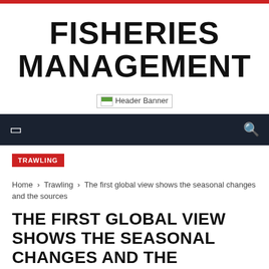FISHERIES MANAGEMENT
[Figure (other): Header Banner image placeholder]
Navigation bar with menu and search icons
TRAWLING
Home › Trawling › The first global view shows the seasonal changes and the sources
THE FIRST GLOBAL VIEW SHOWS THE SEASONAL CHANGES AND THE